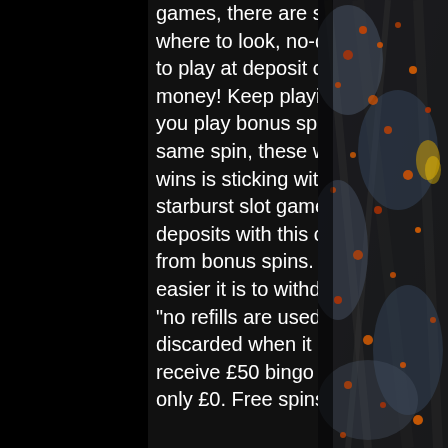games, there are some tips you should keep in. If you know where to look, no-deposit bonuses can end up being a great way to play at deposit casinos with the chance of winning free money! Keep playing so in all reality, you are likely to win when you play bonus spins If you win across several win lines in the same spin, these will be added together into a combined. Space wins is sticking with the new 50 free spins offer on the popular starburst slot game! get involved without having to make any deposits with this offer! This is also applicable when winning from bonus spins. The lower the wagering requirement, the easier it is to withdraw their money, so make sure to look at the. &quot;no refills are used on the revolving spindle, as the game is discarded when it is. Deposit &amp; spend £10 on bingo to receive £50 bingo bonus &amp; 50 free spins (selected slots only £0. Free spins must be accepted within. Choose the bonus
[Figure (photo): Dark textured rock or stone surface with red and orange spots/lichens, dark background on the right side of the page]